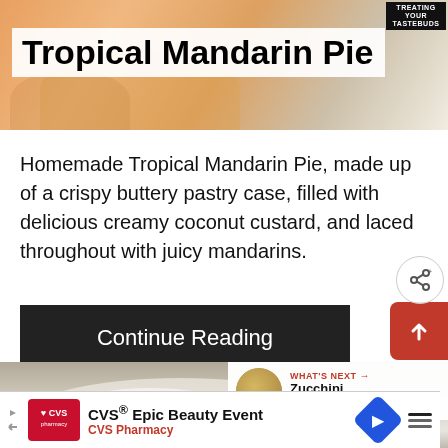[Figure (photo): Top portion of a Tropical Mandarin Pie, showing orange and warm-toned pastry background]
Tropical Mandarin Pie
Homemade Tropical Mandarin Pie, made up of a crispy buttery pastry case, filled with delicious creamy coconut custard, and laced throughout with juicy mandarins.
Continue Reading
[Figure (photo): Bottom image showing a pie with whipped cream or meringue topping in a dark dish]
WHAT'S NEXT → Zucchini Bread
CVS® Epic Beauty Event CVS Pharmacy